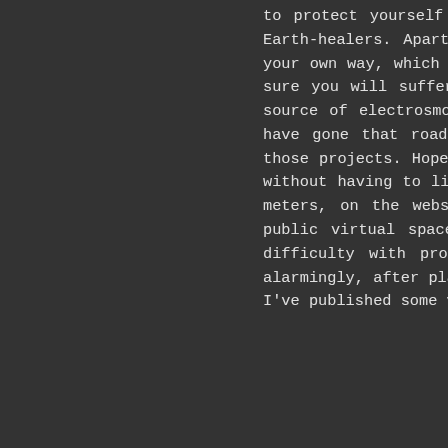to protect yourself are on the market and items are available, also support of Earth-healers. Apart from your own creativity to protect your nervous system in your own way, which is an empowerment. Being in resistence all the time is making sure you will suffer endlessly. I suggest solutions to remove yourself from the source of electrosmog and place your health on the priority list as nr. 1. Many have gone that road and started living off grid, more or less. I've worked in those projects. Hopefully you'll see the application of free energy gadgets soon, without having to live with electrosmog. I've placed critical remarks about smart meters, on the website of my energyprovider in Holland. Customers are given a public virtual space to discuss the use of their smart meter. Many users find difficulty with programming the meter and find also their energy bill rising alarmingly, after placing a smart meter in their home. In that section of the site I've published some videos and articles, with criticism on smart meters, the